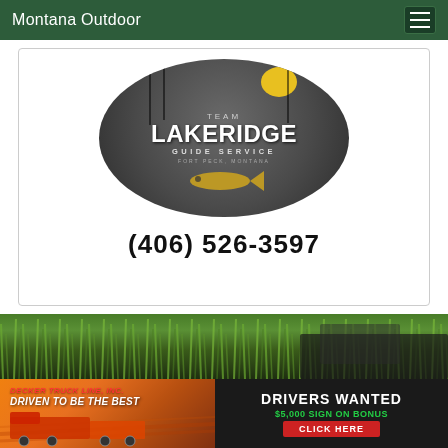Montana Outdoor
[Figure (logo): Team Lakeridge Guide Service logo — circular dark badge with fishing imagery, fish, and text. Fort Peck, Montana.]
(406) 526-3597
[Figure (photo): Outdoor photo strip showing tall green grass and dark vehicle/truck portion]
[Figure (infographic): Decker Truck Line, Inc. advertisement. Left side: orange/golden background with company name and slogan DRIVEN TO BE THE BEST. Right side: dark background with DRIVERS WANTED, $5,000 SIGN ON BONUS, CLICK HERE button.]